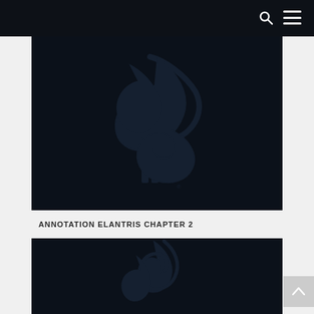Navigation header with search and menu icons
[Figure (logo): Dragonsteel / Brandon Sanderson logo — a stylized dragon/flame shape in dark navy on black background, with registered trademark symbol]
ANNOTATION ELANTRIS CHAPTER 2
[Figure (illustration): Partial view of another dark navy illustration on black background, showing a bird or flame shape (cropped at bottom of page)]